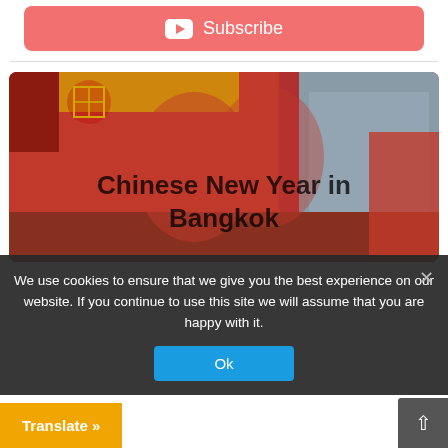[Figure (other): Subscribe button with YouTube icon, salmon/coral red background, white text]
[Figure (photo): Two women in traditional Chinese qipao/cheongsam dresses at Chinese New Year celebration in Bangkok. Red decorations visible in background.]
Chinese New Year in Bangkok
We use cookies to ensure that we give you the best experience on our website. If you continue to use this site we will assume that you are happy with it.
Translate »